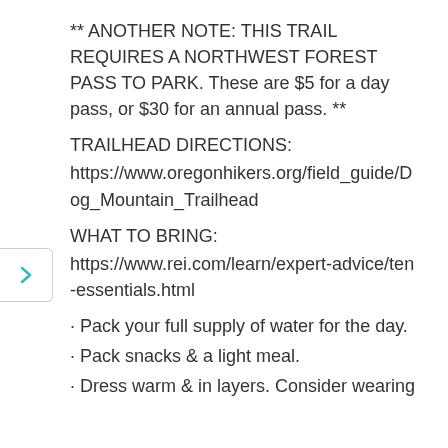** ANOTHER NOTE: THIS TRAIL REQUIRES A NORTHWEST FOREST PASS TO PARK. These are $5 for a day pass, or $30 for an annual pass. **
TRAILHEAD DIRECTIONS:
https://www.oregonhikers.org/field_guide/Dog_Mountain_Trailhead
WHAT TO BRING:
https://www.rei.com/learn/expert-advice/ten-essentials.html
· Pack your full supply of water for the day.
· Pack snacks & a light meal.
· Dress warm & in layers. Consider wearing